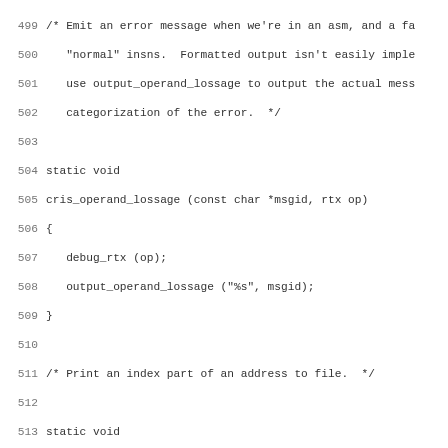Source code listing, lines 499-530, C programming language with line numbers. Functions cris_operand_lossage and cris_print_index.